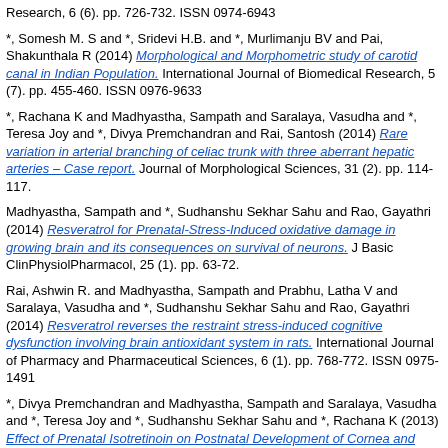Research, 6 (6). pp. 726-732. ISSN 0974-6943
*, Somesh M. S and *, Sridevi H.B. and *, Murlimanju BV and Pai, Shakunthala R (2014) Morphological and Morphometric study of carotid canal in Indian Population. International Journal of Biomedical Research, 5 (7). pp. 455-460. ISSN 0976-9633
*, Rachana K and Madhyastha, Sampath and Saralaya, Vasudha and *, Teresa Joy and *, Divya Premchandran and Rai, Santosh (2014) Rare variation in arterial branching of celiac trunk with three aberrant hepatic arteries – Case report. Journal of Morphological Sciences, 31 (2). pp. 114-117.
Madhyastha, Sampath and *, Sudhanshu Sekhar Sahu and Rao, Gayathri (2014) Resveratrol for Prenatal-Stress-Induced oxidative damage in growing brain and its consequences on survival of neurons. J Basic ClinPhysiolPharmacol, 25 (1). pp. 63-72.
Rai, Ashwin R. and Madhyastha, Sampath and Prabhu, Latha V and Saralaya, Vasudha and *, Sudhanshu Sekhar Sahu and Rao, Gayathri (2014) Resveratrol reverses the restraint stress-induced cognitive dysfunction involving brain antioxidant system in rats. International Journal of Pharmacy and Pharmaceutical Sciences, 6 (1). pp. 768-772. ISSN 0975-1491
*, Divya Premchandran and Madhyastha, Sampath and Saralaya, Vasudha and *, Teresa Joy and *, Sudhanshu Sekhar Sahu and *, Rachana K (2013) Effect of Prenatal Isotretinoin on Postnatal Development of Cornea and Lens in Albino Wistar Rat: A Morphometric and Histopathlogical Analysis. IOSR Journal 0f Pharmacy, 3 (11). pp. 35-40. ISSN 2319-4219
Rai, Ashwin R. and Madhyastha, Sampath and Rao, Gayathri M and Rai, Rajalakshmi and *, Sudhanshu Sekhar Sahu (2013) A Comparison of ...